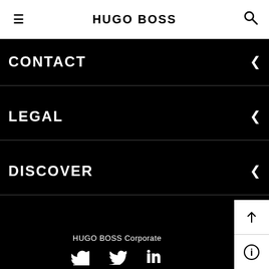HUGO BOSS
CONTACT
LEGAL
DISCOVER
HUGO BOSS Corporate